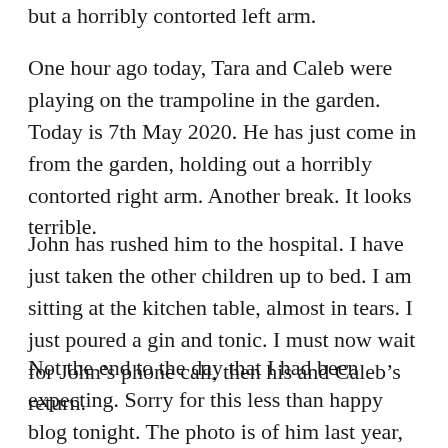but a horribly contorted left arm.
One hour ago today, Tara and Caleb were playing on the trampoline in the garden. Today is 7th May 2020. He has just come in from the garden, holding out a horribly contorted right arm. Another break. It looks terrible.
John has rushed him to the hospital. I have just taken the other children up to bed. I am sitting at the kitchen table, almost in tears. I just poured a gin and tonic. I must now wait for John's phone call, then his and Caleb's return.
Not the end to the day that I had been expecting. Sorry for this less than happy blog tonight. The photo is of him last year, the day after breaking his arm. I will post a picture of this new break in the morning. I really hope he is not in too much pain,